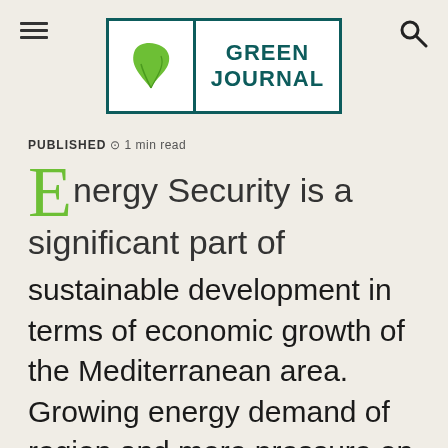GREEN JOURNAL
PUBLISHED ⊙ 1 min read
Energy Security is a significant part of sustainable development in terms of economic growth of the Mediterranean area. Growing energy demand of region and more pressure on conventional energy utilisation disadvantages directed us to set up The Future Solar Energy Summit 2018 in order to promote clean solar energy